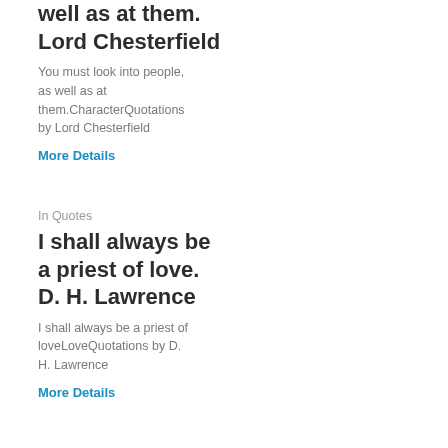well as at them. Lord Chesterfield
You must look into people, as well as at them.CharacterQuotations by Lord Chesterfield
More Details
In Quotes
I shall always be a priest of love. D. H. Lawrence
I shall always be a priest of loveLoveQuotations by D. H. Lawrence
More Details
In Quotes
The ocean is a...